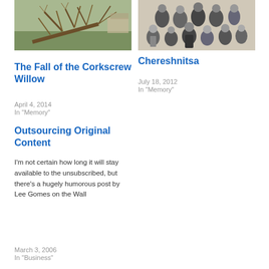[Figure (photo): Photo of a fallen tree with branches in a yard, outdoor scene]
The Fall of the Corkscrew Willow
April 4, 2014
In "Memory"
[Figure (photo): Black and white group photo of people in traditional clothing]
Chereshnitsa
July 18, 2012
In "Memory"
Outsourcing Original Content
I'm not certain how long it will stay available to the unsubscribed, but there's a hugely humorous post by Lee Gomes on the Wall
March 3, 2006
In "Business"